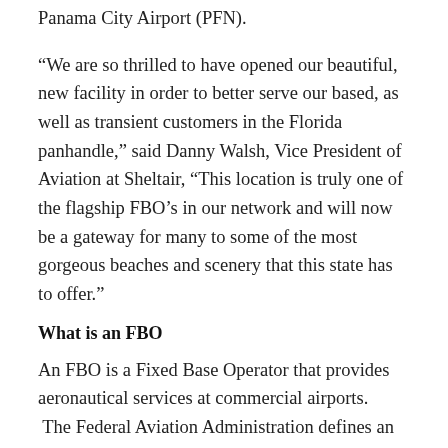Panama City Airport (PFN).
“We are so thrilled to have opened our beautiful, new facility in order to better serve our based, as well as transient customers in the Florida panhandle,” said Danny Walsh, Vice President of Aviation at Sheltair, “This location is truly one of the flagship FBO’s in our network and will now be a gateway for many to some of the most gorgeous beaches and scenery that this state has to offer.”
What is an FBO
An FBO is a Fixed Base Operator that provides aeronautical services at commercial airports. The Federal Aviation Administration defines an FBO as A commercial business granted the right by the